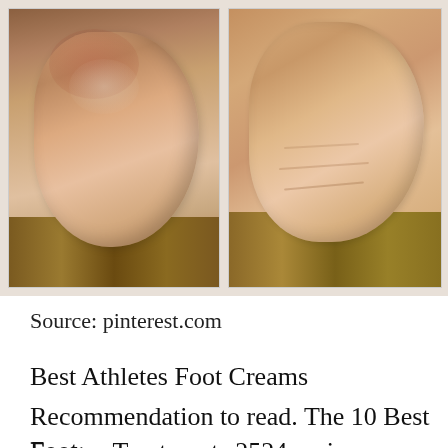[Figure (photo): Two side-by-side photos of a human foot heel. Left image shows a foot with dry, cracked, and discolored skin with visible redness/fungal condition. Right image shows a foot with smoother, healthier-looking skin. Both photos are taken from the side showing the heel on a wooden surface, suggesting a before/after comparison.]
Source: pinterest.com
Best Athletes Foot Creams
Recommendation to read. The 10 Best Foot Fungus Treatments 2524 reviews scanned